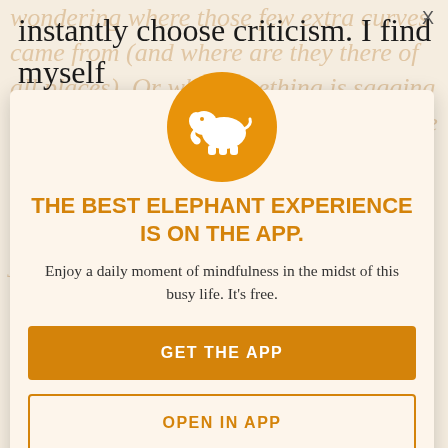instantly choose criticism. I find myself
[Figure (screenshot): App promotion modal overlay on top of a faded article background. Contains an orange elephant logo circle, bold orange headline, descriptive text, and two buttons (GET THE APP and OPEN IN APP). Background shows faded article text in orange/tan tones.]
THE BEST ELEPHANT EXPERIENCE IS ON THE APP.
Enjoy a daily moment of mindfulness in the midst of this busy life. It's free.
GET THE APP
OPEN IN APP